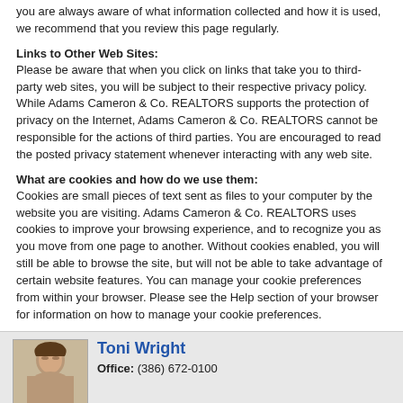you are always aware of what information collected and how it is used, we recommend that you review this page regularly.
Links to Other Web Sites:
Please be aware that when you click on links that take you to third-party web sites, you will be subject to their respective privacy policy. While Adams Cameron & Co. REALTORS supports the protection of privacy on the Internet, Adams Cameron & Co. REALTORS cannot be responsible for the actions of third parties. You are encouraged to read the posted privacy statement whenever interacting with any web site.
What are cookies and how do we use them:
Cookies are small pieces of text sent as files to your computer by the website you are visiting. Adams Cameron & Co. REALTORS uses cookies to improve your browsing experience, and to recognize you as you move from one page to another. Without cookies enabled, you will still be able to browse the site, but will not be able to take advantage of certain website features. You can manage your cookie preferences from within your browser. Please see the Help section of your browser for information on how to manage your cookie preferences.
Toni Wright
Office: (386) 672-0100